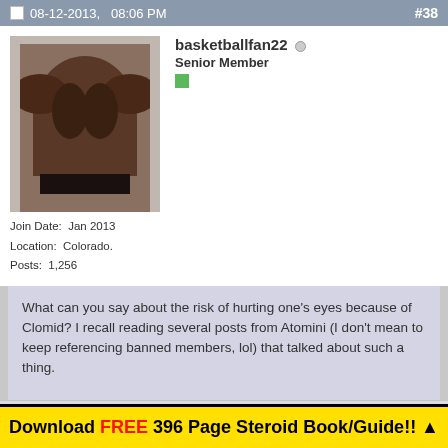08-12-2013,   08:06 PM   #38
[Figure (photo): Profile photo showing back of a muscular person]
Join Date:  Jan 2013
Location:  Colorado.
Posts:  1,256
basketballfan22
Senior Member
What can you say about the risk of hurting one's eyes because of Clomid? I recall reading several posts from Atomini (I don't mean to keep referencing banned members, lol) that talked about such a thing.
Reply With Quote
08-12-2013,   08:10 PM   #39
Download FREE 396 Page Steroid Book/Guide!! ▲